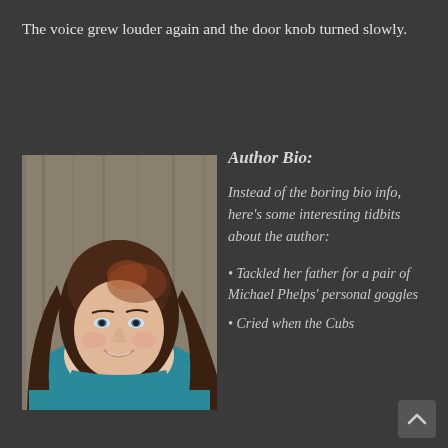The voice grew louder again and the door knob turned slowly.
[Figure (photo): Author headshot: a young woman with long dark hair wearing a teal shirt, smiling, photographed against a wooden background]
Author Bio:
Instead of the boring bio info, here’s some interesting tidbits about the author:
Tackled her father for a pair of Michael Phelps’ personal goggles
Cried when the Cubs